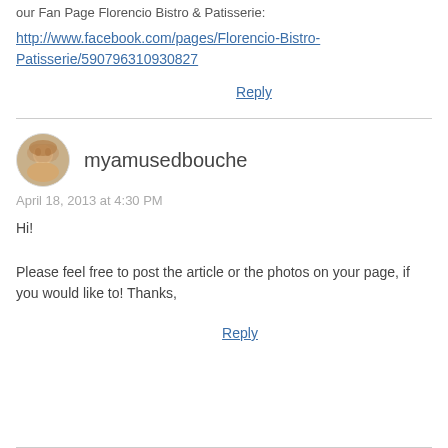our Fan Page Florencio Bistro & Patisserie:
http://www.facebook.com/pages/Florencio-Bistro-Patisserie/590796310930827
Reply
[Figure (photo): Circular avatar photo of myamusedbouche commenter]
myamusedbouche
April 18, 2013 at 4:30 PM
Hi!

Please feel free to post the article or the photos on your page, if you would like to! Thanks,
Reply